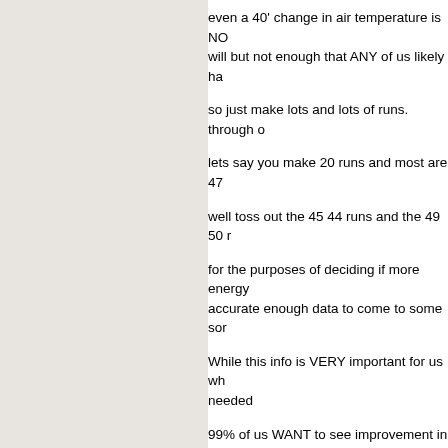even a 40' change in air temperature is NO will but not enough that ANY of us likely ha
so just make lots and lots of runs. through o
lets say you make 20 runs and most are 47
well toss out the 45 44 runs and the 49 50 r
for the purposes of deciding if more energy accurate enough data to come to some sor
While this info is VERY important for us wh needed
99% of us WANT to see improvement in ou or a. IE when your offering up info USUALL and they have nothing to sell you so they h just like being dicks :-)
when you make your A B A runs just make s just enough for the last A to confirm the res
that should be more than enough data poi cautious and careful.
now there is one thing that IS a huge variab
FUEL. in over a million driven miles I saw Z